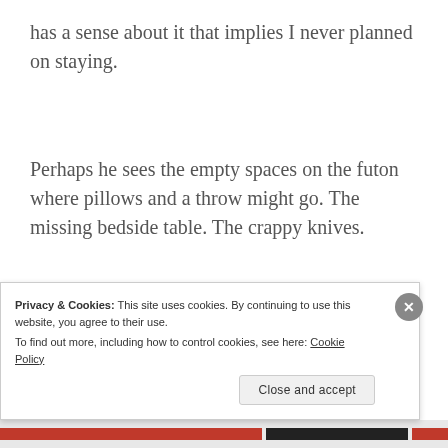has a sense about it that implies I never planned on staying.
Perhaps he sees the empty spaces on the futon where pillows and a throw might go. The missing bedside table. The crappy knives.
He does not mention any of these
Privacy & Cookies: This site uses cookies. By continuing to use this website, you agree to their use.
To find out more, including how to control cookies, see here: Cookie Policy
Close and accept